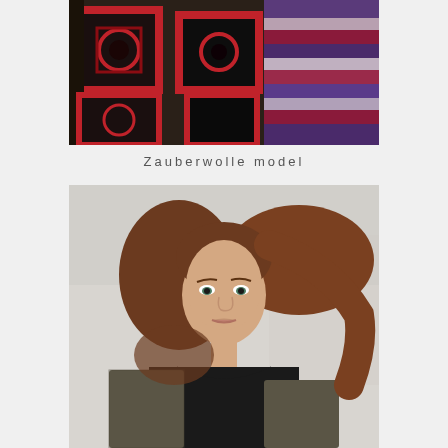[Figure (photo): Close-up of a colorful crocheted/knitted garment with granny squares in red, black, and multicolor stripes of purple, grey, and maroon, worn by a person outdoors.]
Zauberwolle model
[Figure (photo): Portrait photo of a young woman with long brown hair blowing in the wind, blue-green eyes, wearing a dark grey knitted cardigan over a black top, photographed against a light background.]